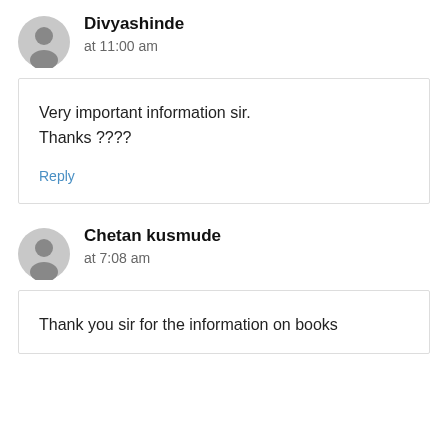Divyashinde
at 11:00 am
Very important information sir.
Thanks ????
Reply
Chetan kusmude
at 7:08 am
Thank you sir for the information on books